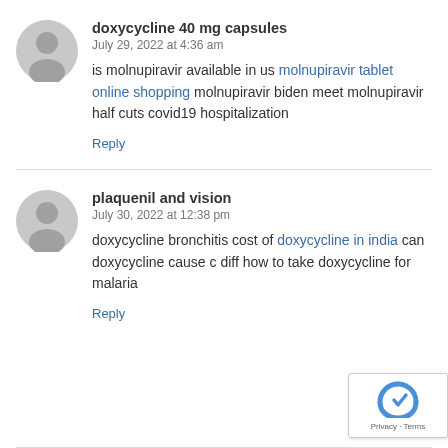doxycycline 40 mg capsules
July 29, 2022 at 4:36 am
is molnupiravir available in us molnupiravir tablet online shopping molnupiravir biden meet molnupiravir half cuts covid19 hospitalization
Reply
plaquenil and vision
July 30, 2022 at 12:38 pm
doxycycline bronchitis cost of doxycycline in india can doxycycline cause c diff how to take doxycycline for malaria
Reply